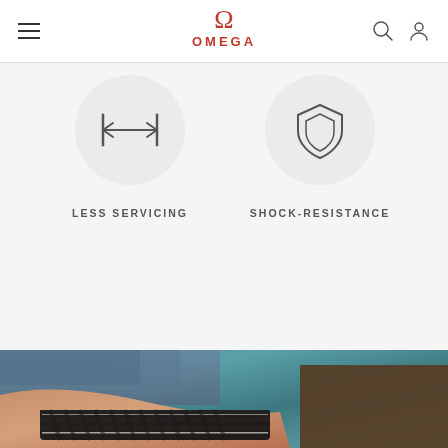OMEGA navigation bar with hamburger menu, Omega logo, and user/search icons
[Figure (illustration): Circle icon with horizontal arrow (less servicing symbol)]
LESS SERVICING
[Figure (illustration): Circle icon with shield symbol (shock-resistance)]
SHOCK-RESISTANCE
[Figure (photo): Close-up photo of a person's wrist wearing a black braided strap watch, resting on denim fabric, teal/blue background]